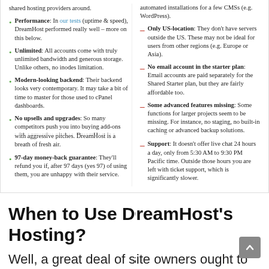shared hosting providers around.
Performance: In our tests (uptime & speed), DreamHost performed really well – more on this below.
Unlimited: All accounts come with truly unlimited bandwidth and generous storage. Unlike others, no inodes limitation.
Modern-looking backend: Their backend looks very contemporary. It may take a bit of time to master for those used to cPanel dashboards.
No upsells and upgrades: So many competitors push you into buying add-ons with aggressive pitches. DreamHost is a breath of fresh air.
97-day money-back guarantee: They'll refund you if, after 97 days (yes 97) of using them, you are unhappy with their service.
automated installations for a few CMSs (e.g. WordPress).
Only US-location: They don't have servers outside the US. These may not be ideal for users from other regions (e.g. Europe or Asia).
No email account in the starter plan: Email accounts are paid separately for the Shared Starter plan, but they are fairly affordable too.
Some advanced features missing: Some functions for larger projects seem to be missing. For instance, no staging, no built-in caching or advanced backup solutions.
Support: It doesn't offer live chat 24 hours a day, only from 5:30 AM to 9:30 PM Pacific time. Outside those hours you are left with ticket support, which is significantly slower.
When to Use DreamHost's Hosting?
Well, a great deal of site owners ought to consider using DreamHost. It combines both low prices and high quality,